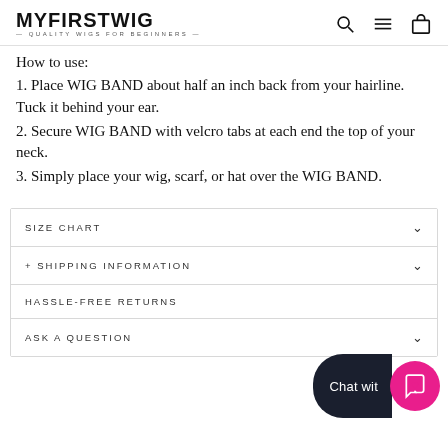MYFIRSTWIG — QUALITY WIGS FOR BEGINNERS —
How to use:
1. Place WIG BAND about half an inch back from your hairline. Tuck it behind your ear.
2. Secure WIG BAND with velcro tabs at each end the top of your neck.
3. Simply place your wig, scarf, or hat over the WIG BAND.
SIZE CHART
+ SHIPPING INFORMATION
HASSLE-FREE RETURNS
ASK A QUESTION